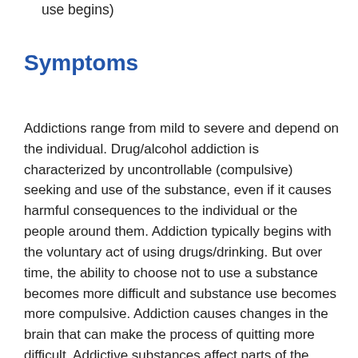use begins)
Symptoms
Addictions range from mild to severe and depend on the individual. Drug/alcohol addiction is characterized by uncontrollable (compulsive) seeking and use of the substance, even if it causes harmful consequences to the individual or the people around them. Addiction typically begins with the voluntary act of using drugs/drinking. But over time, the ability to choose not to use a substance becomes more difficult and substance use becomes more compulsive. Addiction causes changes in the brain that can make the process of quitting more difficult. Addictive substances affect parts of the brain involved in reward and motivation, learning and memory, and control over behavior. Addiction can cause changes in a person's mood, habits, and actions. This includes physical changes, social changes, and